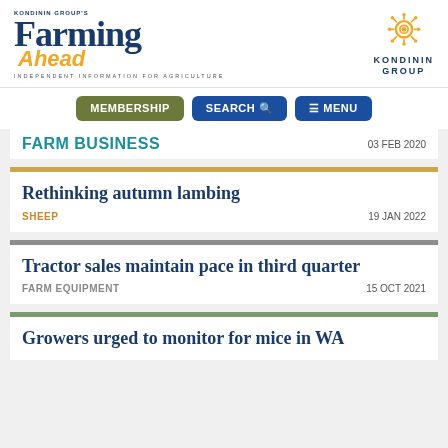[Figure (logo): Farming Ahead by Kondinin Group logo with 'INDEPENDENT INFORMATION FOR AGRICULTURE' tagline, and Kondinin Group emblem on the right]
MEMBERSHIP  SEARCH  MENU
FARM BUSINESS  03 FEB 2020
Rethinking autumn lambing
SHEEP  19 JAN 2022
Tractor sales maintain pace in third quarter
FARM EQUIPMENT  15 OCT 2021
Growers urged to monitor for mice in WA